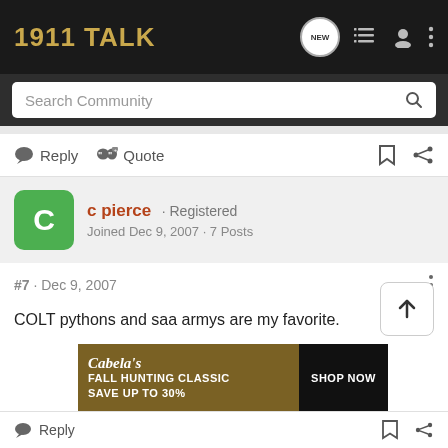1911 TALK
Search Community
Reply  Quote
c pierce · Registered
Joined Dec 9, 2007 · 7 Posts
#7 · Dec 9, 2007
COLT pythons and saa armys are my favorite.
[Figure (other): Cabela's Fall Hunting Classic advertisement banner - FALL HUNTING CLASSIC SAVE UP TO 30% SHOP NOW]
Reply